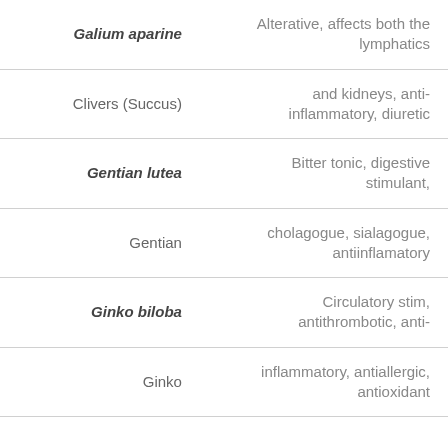| Name | Properties |
| --- | --- |
| Galium aparine | Alterative, affects both the lymphatics |
| Clivers (Succus) | and kidneys, anti-inflammatory, diuretic |
| Gentian lutea | Bitter tonic, digestive stimulant, |
| Gentian | cholagogue, sialagogue, antiinflamatory |
| Ginko biloba | Circulatory stim, antithrombotic, anti- |
| Ginko | inflammatory, antiallergic, antioxidant |
|  |  |